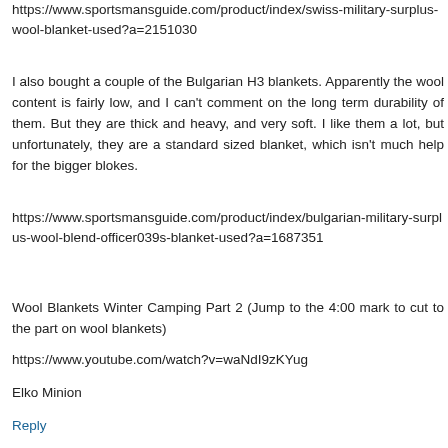https://www.sportsmansguide.com/product/index/swiss-military-surplus-wool-blanket-used?a=2151030
I also bought a couple of the Bulgarian H3 blankets. Apparently the wool content is fairly low, and I can't comment on the long term durability of them. But they are thick and heavy, and very soft. I like them a lot, but unfortunately, they are a standard sized blanket, which isn't much help for the bigger blokes.
https://www.sportsmansguide.com/product/index/bulgarian-military-surplus-wool-blend-officer039s-blanket-used?a=1687351
Wool Blankets Winter Camping Part 2 (Jump to the 4:00 mark to cut to the part on wool blankets)
https://www.youtube.com/watch?v=waNdI9zKYug
Elko Minion
Reply